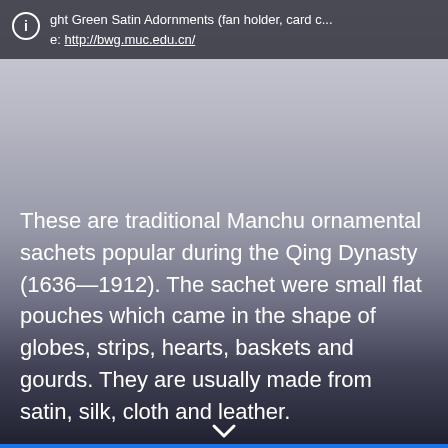ght Green Satin Adornments (fan holder, card c... e: http://bwg.muc.edu.cn/
[Figure (photo): Background image of green satin ornamental sachets, fading from light grey-blue at top to dark grey at bottom]
These are traditional Manchu ornamental sachets popular during the Qing Dynasty (1636—1912). The sachet were small flat pouches which came in the shape of globes, strips, hearts, baskets and gourds. They are usually made from satin, silk, cloth and leather.